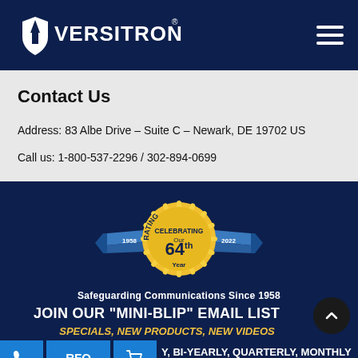[Figure (logo): Versitron logo with white stylized V shield and VERSITRON text with registered trademark symbol, white on dark navy background]
Contact Us
Address: 83 Albe Drive – Suite C – Newark, DE 19702 US
Call us: 1-800-537-2296 / 302-894-0699
[Figure (illustration): Gold sunburst badge with blue ribbon banner reading '1958' on left and '2022' on right, center text: CELEBRATING Our 64th Year. Below: Safeguarding Communications Since 1958]
Safeguarding Communications Since 1958
JOIN OUR "MINI-BLIP" EMAIL LIST
SPECIALS, NEW PRODUCTS, NEW VIDEOS
Y, BI-YEARLY, QUARTERLY, MONTHLY OR BI-